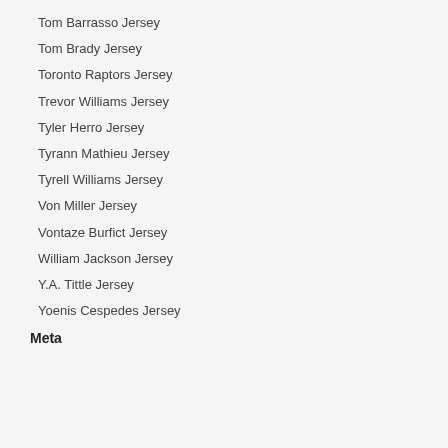Tom Barrasso Jersey
Tom Brady Jersey
Toronto Raptors Jersey
Trevor Williams Jersey
Tyler Herro Jersey
Tyrann Mathieu Jersey
Tyrell Williams Jersey
Von Miller Jersey
Vontaze Burfict Jersey
William Jackson Jersey
Y.A. Tittle Jersey
Yoenis Cespedes Jersey
Meta